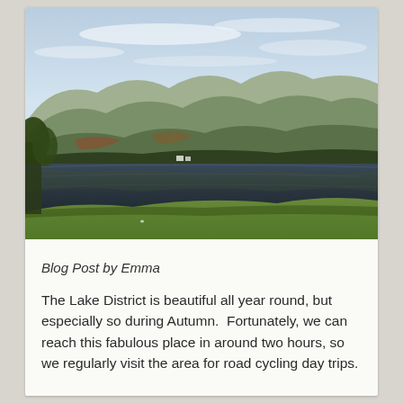[Figure (photo): Landscape photo of the Lake District showing rolling green hills and mountains in the background, a calm reflective lake in the middle distance, green fields in the foreground, and trees along the shore. Sky is pale blue with light clouds.]
Blog Post by Emma
The Lake District is beautiful all year round, but especially so during Autumn.  Fortunately, we can reach this fabulous place in around two hours, so we regularly visit the area for road cycling day trips.